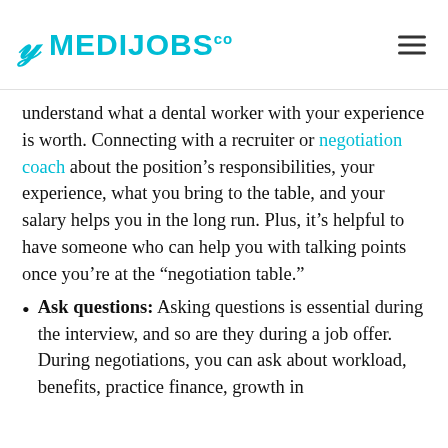MEDIJOBS co
understand what a dental worker with your experience is worth. Connecting with a recruiter or negotiation coach about the position’s responsibilities, your experience, what you bring to the table, and your salary helps you in the long run. Plus, it’s helpful to have someone who can help you with talking points once you’re at the “negotiation table.”
Ask questions: Asking questions is essential during the interview, and so are they during a job offer. During negotiations, you can ask about workload, benefits, practice finance, growth in